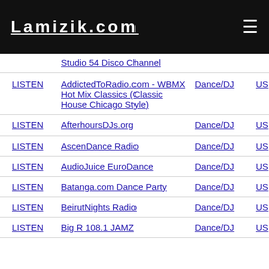Lamizik.com
|  | Name | Genre | Country |
| --- | --- | --- | --- |
|  | Studio 54 Disco Channel |  |  |
| LISTEN | AddictedToRadio.com - WBMX Hot Mix Classics (Classic House Chicago Style) | Dance/DJ | US |
| LISTEN | AfterhoursDJs.org | Dance/DJ | US |
| LISTEN | AscenDance Radio | Dance/DJ | US |
| LISTEN | AudioJuice EuroDance | Dance/DJ | US |
| LISTEN | Batanga.com Dance Party | Dance/DJ | US |
| LISTEN | BeiruitNights Radio | Dance/DJ | US |
| LISTEN | Big R 108.1 JAMZ | Dance/DJ | US |